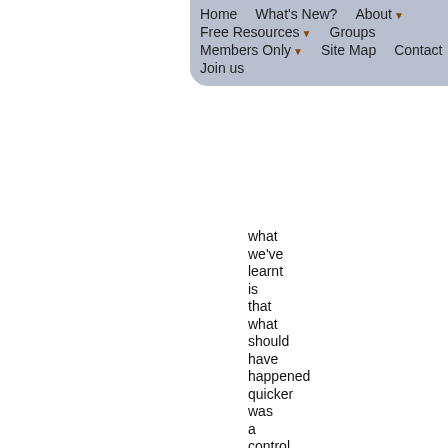Home  What's New?  About  Free Resources  Groups  Members Only  Site Map  Contact  Join us
what we've learnt is that what should have happened quicker was a control trial to test the cardiovascular safety of these drugs; I absolutely agree